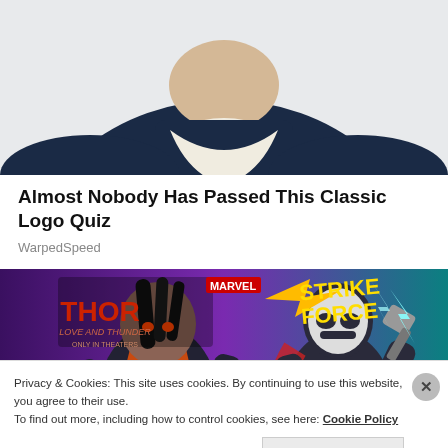[Figure (illustration): Partial view of an illustrated character wearing a dark navy/blue turtleneck outfit with a white cravat/bow, cropped at the shoulders and head]
Almost Nobody Has Passed This Classic Logo Quiz
WarpedSpeed
[Figure (illustration): Marvel Strike Force advertisement banner featuring Thor: Love and Thunder branding. Shows animated female character with blue sword on left and Thor character with lightning hammer on right, purple/teal gradient background.]
Privacy & Cookies: This site uses cookies. By continuing to use this website, you agree to their use.
To find out more, including how to control cookies, see here: Cookie Policy
Close and accept